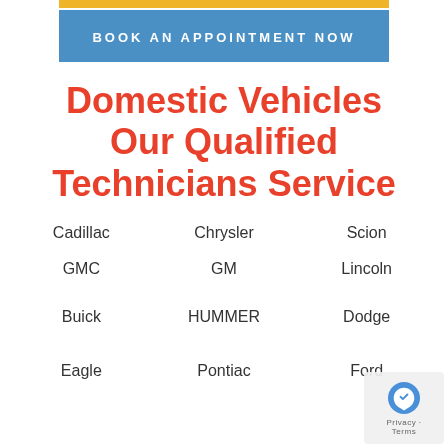[Figure (other): Yellow bar above the blue Book an Appointment Now button]
BOOK AN APPOINTMENT NOW
Domestic Vehicles Our Qualified Technicians Service
Cadillac
Chrysler
Scion
GMC
GM
Lincoln
Buick
HUMMER
Dodge
Eagle
Pontiac
Ford